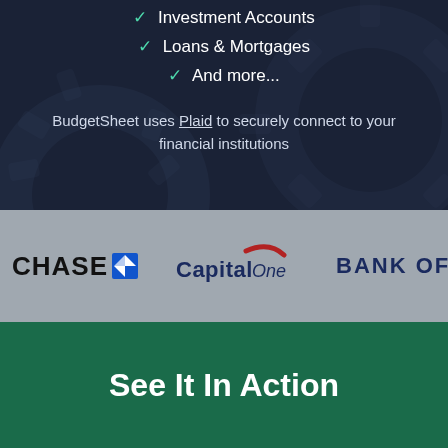✓ Investment Accounts
✓ Loans & Mortgages
✓ And more...
BudgetSheet uses Plaid to securely connect to your financial institutions
[Figure (logo): Bank logos banner showing Chase, Capital One, and Bank Of (partially visible) on a gray background]
See It In Action